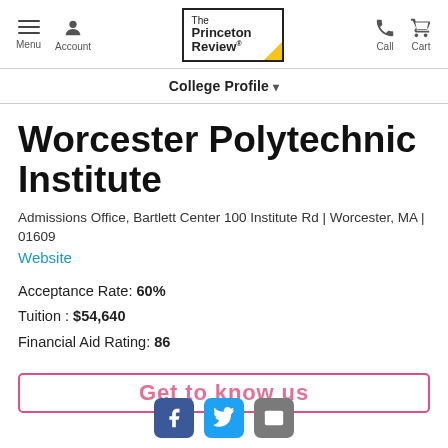Menu  Account  The Princeton Review  Call  Cart
College Profile
Worcester Polytechnic Institute
Admissions Office, Bartlett Center 100 Institute Rd | Worcester, MA | 01609
Website
Acceptance Rate: 60%
Tuition : $54,640
Financial Aid Rating: 86
[Figure (other): Partially visible CTA button with pink border]
[Figure (other): Social media icons: Facebook, Twitter, Email]